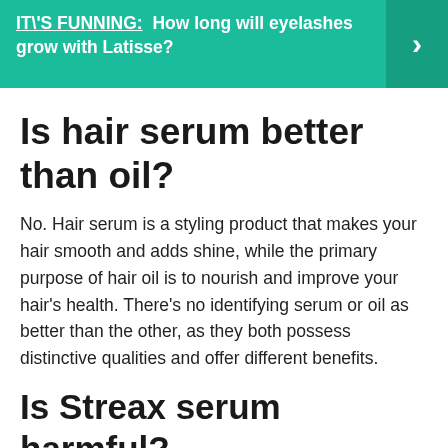[Figure (infographic): Teal banner with text 'IT'S FUNNING: How long will eyelashes grow with Latisse?' and a right-arrow button on the right side]
Is hair serum better than oil?
No. Hair serum is a styling product that makes your hair smooth and adds shine, while the primary purpose of hair oil is to nourish and improve your hair's health. There's no identifying serum or oil as better than the other, as they both possess distinctive qualities and offer different benefits.
Is Streax serum harmful?